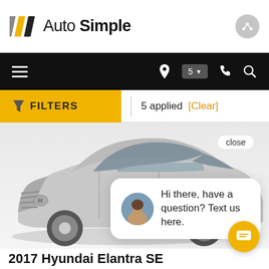[Figure (logo): Auto Simple logo with diagonal stripes in gray, gold, and dark colors followed by text 'Auto Simple']
[Figure (screenshot): Black navigation bar with hamburger menu on left, location pin icon, '5' badge with dropdown, phone icon, and search icon on right]
FILTERS  5 applied  [Clear]
[Figure (photo): Silver 2017 Hyundai Elantra SE sedan, front three-quarter view on white/gray background, with a chat popup overlay saying 'Hi there, have a question? Text us here.' with female avatar and close button, and a gold chat FAB button in the lower right]
2017 Hyundai Elantra SE